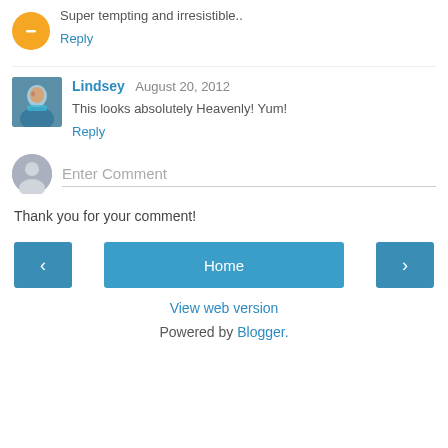Super tempting and irresistible..
Reply
Lindsey  August 20, 2012
This looks absolutely Heavenly! Yum!
Reply
Enter Comment
Thank you for your comment!
Home
View web version
Powered by Blogger.